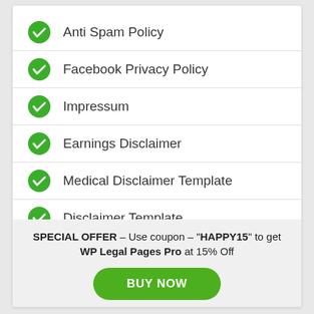Anti Spam Policy
Facebook Privacy Policy
Impressum
Earnings Disclaimer
Medical Disclaimer Template
Disclaimer Template
SPECIAL OFFER – Use coupon – "HAPPY15" to get WP Legal Pages Pro at 15% Off
BUY NOW